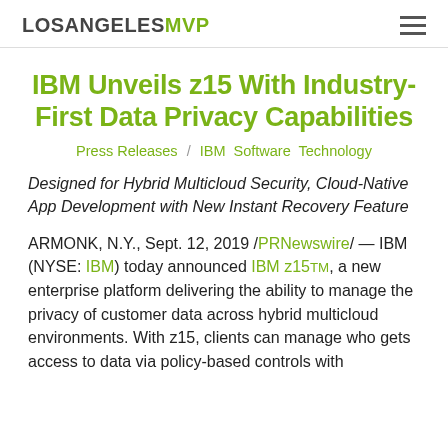LOSANGELESMVP
IBM Unveils z15 With Industry-First Data Privacy Capabilities
Press Releases / IBM Software Technology
Designed for Hybrid Multicloud Security, Cloud-Native App Development with New Instant Recovery Feature
ARMONK, N.Y., Sept. 12, 2019 /PRNewswire/ — IBM (NYSE: IBM) today announced IBM z15™, a new enterprise platform delivering the ability to manage the privacy of customer data across hybrid multicloud environments. With z15, clients can manage who gets access to data via policy-based controls with…